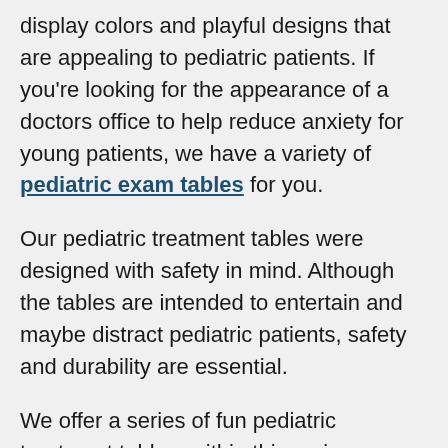display colors and playful designs that are appealing to pediatric patients. If you're looking for the appearance of a doctors office to help reduce anxiety for young patients, we have a variety of pediatric exam tables for you.
Our pediatric treatment tables were designed with safety in mind. Although the tables are intended to entertain and maybe distract pediatric patients, safety and durability are essential.
We offer a series of fun pediatric treatment tables, within this series are tables with different designs and accommodating features. For example, the Fun Series Pediatric